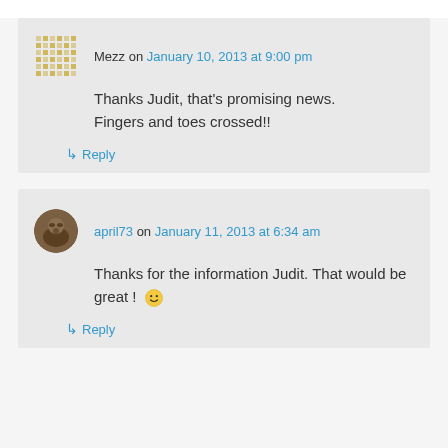Mezz on January 10, 2013 at 9:00 pm
Thanks Judit, that's promising news. Fingers and toes crossed!!
↳ Reply
april73 on January 11, 2013 at 6:34 am
Thanks for the information Judit. That would be great ! 🙂
↳ Reply